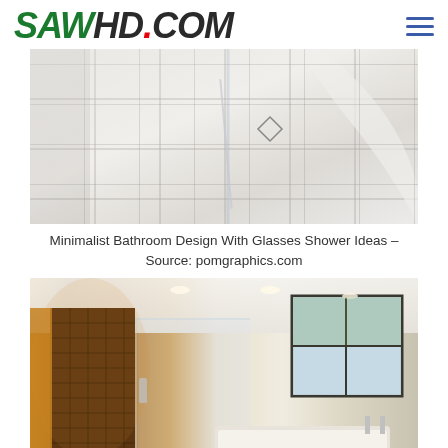SAWHD.COM
[Figure (photo): Minimalist bathroom floor with large white tiles and glass shower enclosure with diamond-shaped drain]
Minimalist Bathroom Design With Glasses Shower Ideas – Source: pomgraphics.com
[Figure (photo): Modern bathroom with glass shower enclosure, dark tile accent wall, frosted glass windows, and bathtub]